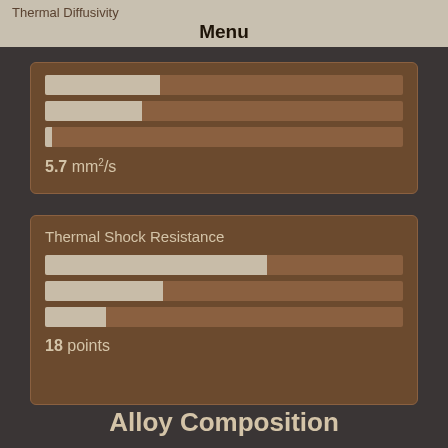Thermal Diffusivity
Menu
[Figure (bar-chart): Thermal Diffusivity]
5.7 mm²/s
Thermal Shock Resistance
[Figure (bar-chart): Thermal Shock Resistance]
18 points
Alloy Composition